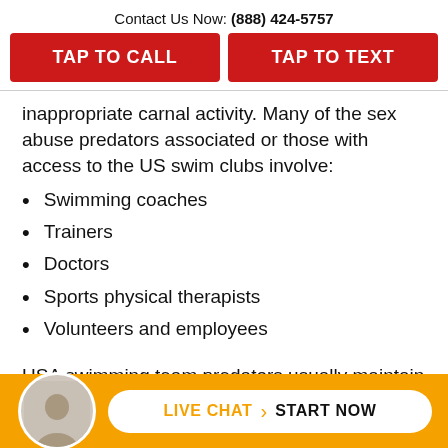Contact Us Now: (888) 424-5757
TAP TO CALL
TAP TO TEXT
inappropriate carnal activity. Many of the sex abuse predators associated or those with access to the US swim clubs involve:
Swimming coaches
Trainers
Doctors
Sports physical therapists
Volunteers and employees
USA swimming team predators usually maintain the dominant position on the team
LIVE CHAT › START NOW